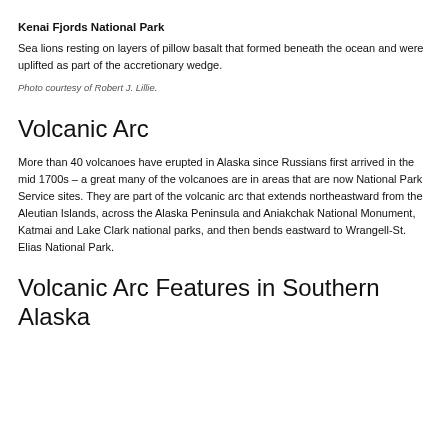Kenai Fjords National Park
Sea lions resting on layers of pillow basalt that formed beneath the ocean and were uplifted as part of the accretionary wedge.
Photo courtesy of Robert J. Lillie.
Volcanic Arc
More than 40 volcanoes have erupted in Alaska since Russians first arrived in the mid 1700s – a great many of the volcanoes are in areas that are now National Park Service sites. They are part of the volcanic arc that extends northeastward from the Aleutian Islands, across the Alaska Peninsula and Aniakchak National Monument, Katmai and Lake Clark national parks, and then bends eastward to Wrangell-St. Elias National Park.
Volcanic Arc Features in Southern Alaska